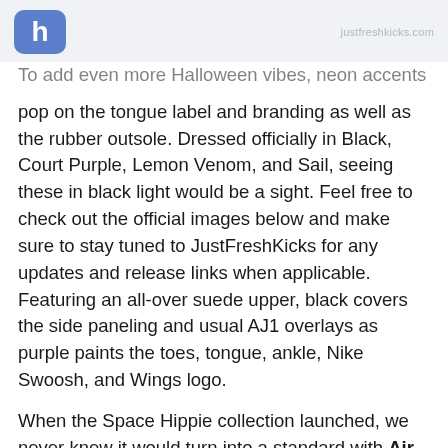h | justfreshkicks.com (URL)
To add even more Halloween vibes, neon accents pop on the tongue label and branding as well as the rubber outsole. Dressed officially in Black, Court Purple, Lemon Venom, and Sail, seeing these in black light would be a sight. Feel free to check out the official images below and make sure to stay tuned to JustFreshKicks for any updates and release links when applicable. Featuring an all-over suede upper, black covers the side paneling and usual AJ1 overlays as purple paints the toes, tongue, ankle, Nike Swoosh, and Wings logo.
When the Space Hippie collection launched, we never knew it would turn into a standard with Air Jordan 1 Zoom Court Purple and Jordan. Purple